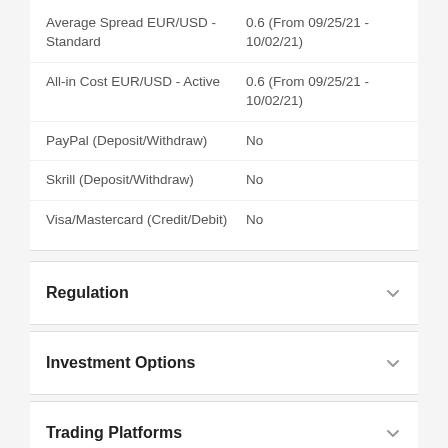| Feature | Value |
| --- | --- |
| Average Spread EUR/USD - Standard | 0.6 (From 09/25/21 - 10/02/21) |
| All-in Cost EUR/USD - Active | 0.6 (From 09/25/21 - 10/02/21) |
| PayPal (Deposit/Withdraw) | No |
| Skrill (Deposit/Withdraw) | No |
| Visa/Mastercard (Credit/Debit) | No |
Regulation
Investment Options
Trading Platforms
Apps & Tools